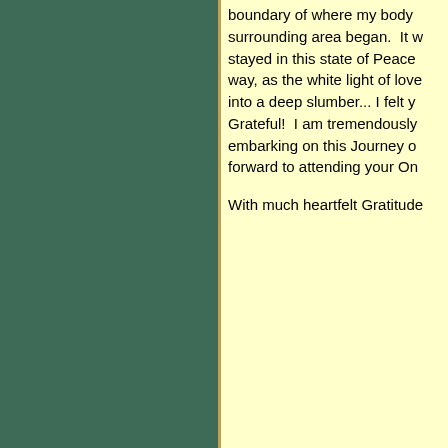[Figure (other): Green decorative panel on the left side of the page with a golden/tan vertical border stripe on the right edge]
boundary of where my body surrounding area began.  It w stayed in this state of Peace way, as the white light of love into a deep slumber... I felt y Grateful!  I am tremendously embarking on this Journey o forward to attending your On
With much heartfelt Gratitude